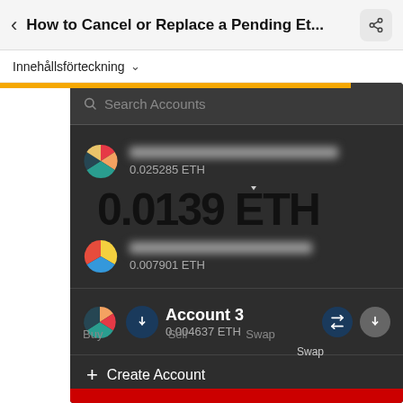How to Cancel or Replace a Pending Et...
Innehållsförteckning
[Figure (screenshot): MetaMask mobile app screenshot showing account selector with Search Accounts field, Account 1 (0.025285 ETH), Account 2 (0.007901 ETH), Account 3 (0.004637 ETH), Create Account option, and bottom navigation with Assets and Activity tabs. A large '0.0139 ETH' overlay is displayed prominently. A red highlight bar appears at the bottom.]